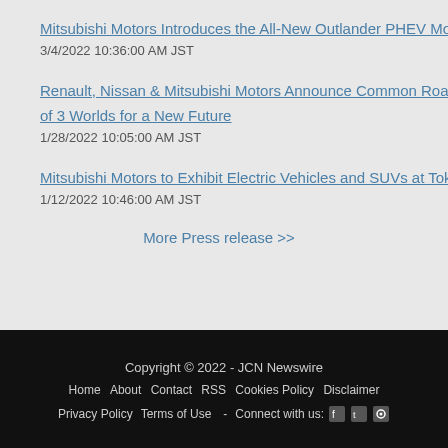Mitsubishi Motors Introduces the All-New Outlander PHEV Model i
3/4/2022 10:36:00 AM JST
Renault, Nissan & Mitsubishi Motors Announce Common Roadma... of 3 Worlds for a New Future
1/28/2022 10:05:00 AM JST
Mitsubishi Motors to Exhibit Electric Vehicles and SUVs at Tokyo A
1/12/2022 10:46:00 AM JST
More Press release >>
Copyright © 2022 - JCN Newswire | Home About Contact RSS Cookies Policy Disclaimer Privacy Policy Terms of Use - Connect with us: